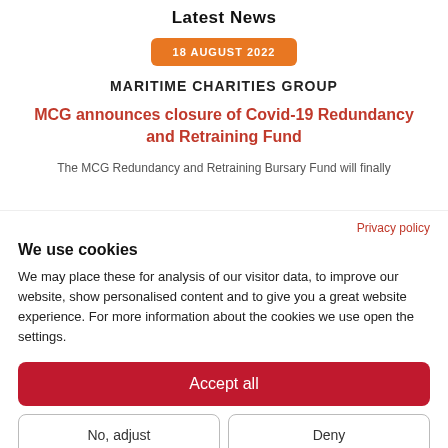Latest News
18 AUGUST 2022
MARITIME CHARITIES GROUP
MCG announces closure of Covid-19 Redundancy and Retraining Fund
The MCG Redundancy and Retraining Bursary Fund will finally
Privacy policy
We use cookies
We may place these for analysis of our visitor data, to improve our website, show personalised content and to give you a great website experience. For more information about the cookies we use open the settings.
Accept all
No, adjust
Deny